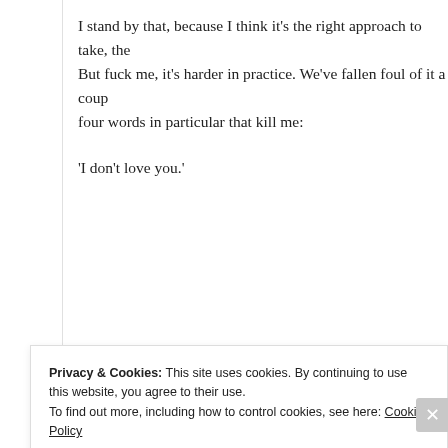I stand by that, because I think it’s the right approach to take, the… But fuck me, it’s harder in practice. We’ve fallen foul of it a coup… four words in particular that kill me:
‘I don’t love you.’
POSTED IN PERSONAL | TAGGED FRIENDS WITH BENEFITS, FUCK BUDDY…
You took the words right out of my…
POSTED ON JUNE 27, 2014
Privacy & Cookies: This site uses cookies. By continuing to use this website, you agree to their use.
To find out more, including how to control cookies, see here: Cookie Policy
Close and accept